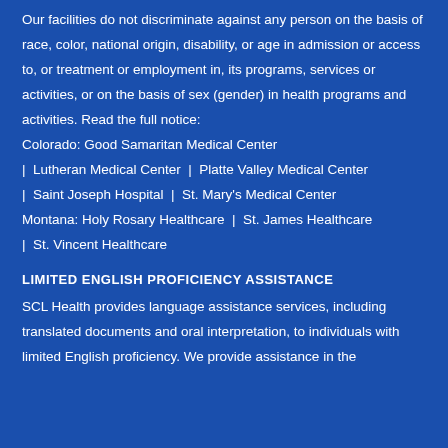Our facilities do not discriminate against any person on the basis of race, color, national origin, disability, or age in admission or access to, or treatment or employment in, its programs, services or activities, or on the basis of sex (gender) in health programs and activities. Read the full notice:
Colorado: Good Samaritan Medical Center
|  Lutheran Medical Center  |  Platte Valley Medical Center
|  Saint Joseph Hospital  |  St. Mary's Medical Center
Montana: Holy Rosary Healthcare  |  St. James Healthcare
|  St. Vincent Healthcare
LIMITED ENGLISH PROFICIENCY ASSISTANCE
SCL Health provides language assistance services, including translated documents and oral interpretation, to individuals with limited English proficiency. We provide assistance in the